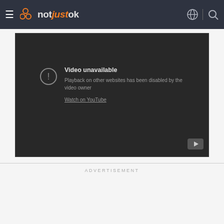notjustok
[Figure (screenshot): Embedded video player showing 'Video unavailable' error. Text reads: 'Playback on other websites has been disabled by the video owner. Watch on YouTube'. YouTube logo icon in bottom-right corner of player.]
ADVERTISEMENT